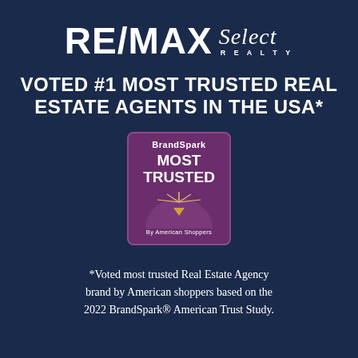[Figure (logo): RE/MAX Select Realty logo in white on dark navy background]
VOTED #1 MOST TRUSTED REAL ESTATE AGENTS IN THE USA*
[Figure (illustration): BrandSpark Most Trusted By American Shoppers badge/seal in purple]
*Voted most trusted Real Estate Agency brand by American shoppers based on the 2022 BrandSpark® American Trust Study.